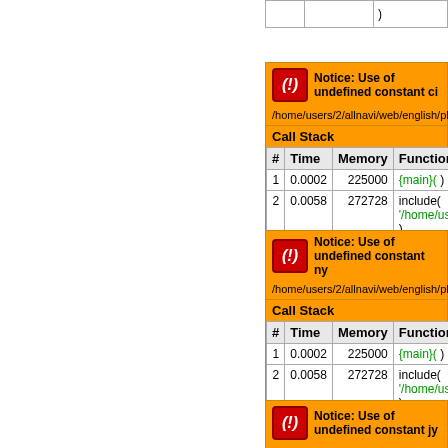|  |  |  |
| --- | --- | --- |
|  |  | ) |
[Figure (screenshot): PHP Notice error block: 'Notice: Use of undefined constant ci...' with path /home/users/2/allnavi/web/english/php/info_d... and Call Stack table showing rows: 1 / 0.0002 / 225000 / {main}() and 2 / 0.0058 / 272728 / include('/home/users/2/all... )]
[Figure (screenshot): PHP Notice error block: 'Notice: Use of undefined constant ny...' with path /home/users/2/allnavi/web/english/php/info_d... and Call Stack table showing rows: 1 / 0.0002 / 225000 / {main}() and 2 / 0.0058 / 272728 / include('/home/users/2/all... )]
[Figure (screenshot): PHP Notice error block: 'Notice: Use of undefined constant jy...' with path /home/users/2/allnavi/web/english/php/info_d... (partial, cut off at bottom)]